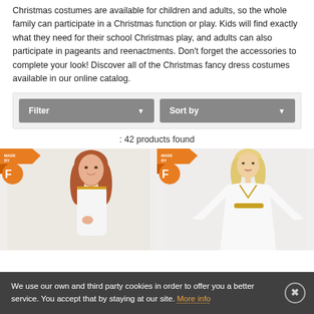Christmas costumes are available for children and adults, so the whole family can participate in a Christmas function or play. Kids will find exactly what they need for their school Christmas play, and adults can also participate in pageants and reenactments. Don't forget the accessories to complete your look! Discover all of the Christmas fancy dress costumes available in our online catalog.
Filter   Sort by
: 42 products found
[Figure (photo): Two Christmas costume product images side by side. Left: a young girl with long red hair wearing a white angel/nativity costume with hands pressed together in prayer. Right: a blonde adult woman wearing a white dress with gold trim belt, arms outstretched. Both images have an orange 'MADE BY F' badge in the top left corner.]
We use our own and third party cookies in order to offer you a better service. You accept that by staying at our site. More info